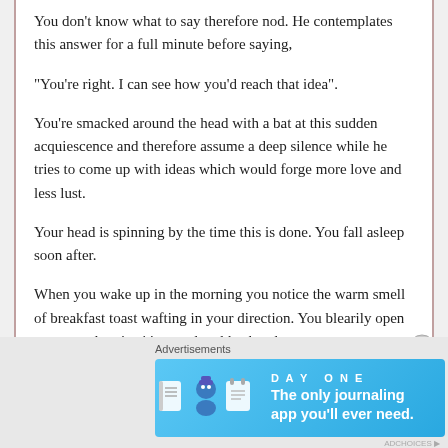You don't know what to say therefore nod. He contemplates this answer for a full minute before saying,
“You’re right. I can see how you’d reach that idea”.
You’re smacked around the head with a bat at this sudden acquiescence and therefore assume a deep silence while he tries to come up with ideas which would forge more love and less lust.
Your head is spinning by the time this is done. You fall asleep soon after.
When you wake up in the morning you notice the warm smell of breakfast toast wafting in your direction. You blearily open an eye and notice it’s your loyal husband
Advertisements
[Figure (infographic): Day One journaling app advertisement banner with blue gradient background, app icons, and text: 'The only journaling app you'll ever need.']